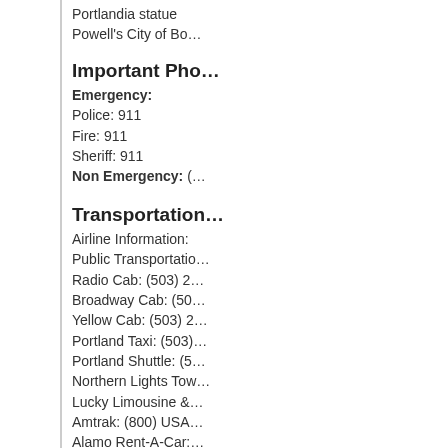Portlandia statue
Powell's City of Bo…
Important Pho…
Emergency:
Police: 911
Fire: 911
Sheriff: 911
Non Emergency: (…
Transportation…
Airline Information:
Public Transportatio…
Radio Cab: (503) 2…
Broadway Cab: (50…
Yellow Cab: (503) 2…
Portland Taxi: (503)…
Portland Shuttle: (5…
Northern Lights Tow…
Lucky Limousine &…
Amtrak: (800) USA…
Alamo Rent-A-Car:…
Budget Car and Tru…
Enterprise Rent-A-C…
DMV: (503) 299-99…
Dept. of Transporta…
Utilities:
Portland Water Bur…
Public Utilities Com…